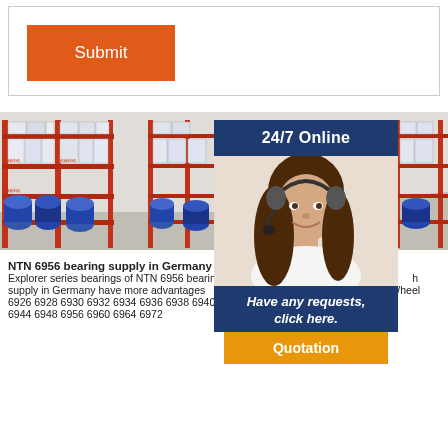[Figure (screenshot): Orange Submit button inside a white bordered box]
[Figure (photo): Warehouse shelves stocked with bearing boxes and blue cylindrical packages on metal racking]
[Figure (photo): Warehouse shelves on right side, partially overlaid by a 24/7 Online popup with a woman wearing a headset, and a Have any requests, click here. / Quotation overlay]
NTN 6956 bearing supply in Germany - Explorer series bearings of NTN 6956 bearing supply in Germany have more advantages 6926 6928 6930 6932 6934 6936 6938 6940 6944 6948 6956 6960 6964 6972
NSK 600... p>NTN A... Wheel Bearing ... h Quality NTN AO0838-3EXL/L588 Wheel Bearing Kit from yoyoparts